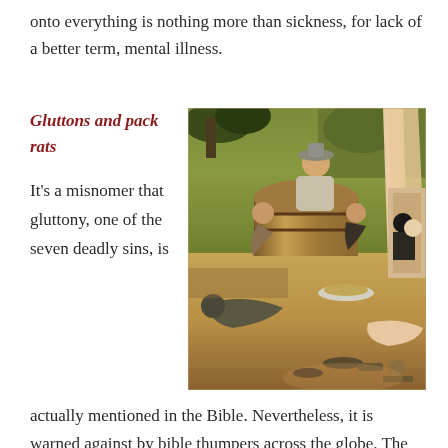onto everything is nothing more than sickness, for lack of a better term, mental illness.
Gluttons and pack rats
[Figure (illustration): A medieval painting depicting scenes of gluttony, with figures around a barrel, one eating from a plate, and others in various states of excess. The style is reminiscent of Hieronymus Bosch.]
It's a misnomer that gluttony, one of the seven deadly sins, is
actually mentioned in the Bible. Nevertheless, it is warned against by bible thumpers across the globe. The act is really more of a metaphor for any an inordinate desire